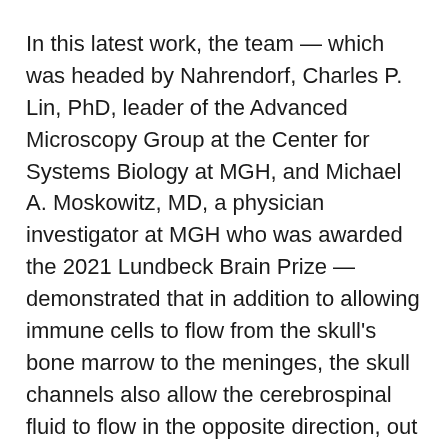In this latest work, the team — which was headed by Nahrendorf, Charles P. Lin, PhD, leader of the Advanced Microscopy Group at the Center for Systems Biology at MGH, and Michael A. Moskowitz, MD, a physician investigator at MGH who was awarded the 2021 Lundbeck Brain Prize — demonstrated that in addition to allowing immune cells to flow from the skull's bone marrow to the meninges, the skull channels also allow the cerebrospinal fluid to flow in the opposite direction, out of the brain and into the skull's bone marrow.
“Now we know that the brain can signal to this hub of immunity — in other words, cry for help in case things go wrong, such as during infection and inflammation. Cells